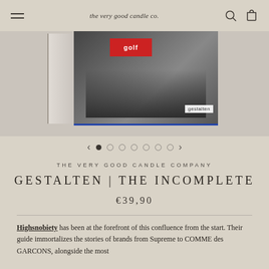the very good candle co.
[Figure (photo): Product image showing a book cover for 'Gestalten | The Incomplete' with street fashion crowd scene featuring 'golf' branding, and a 'gestalten' publisher label visible]
[Figure (other): Image carousel navigation with left arrow, 7 dots (first filled/active, rest empty circles), and right arrow]
THE VERY GOOD CANDLE COMPANY
GESTALTEN | THE INCOMPLETE
€39,90
Highsnobiety has been at the forefront of this confluence from the start. Their guide immortalizes the stories of brands from Supreme to COMME des GARCONS, alongside the most